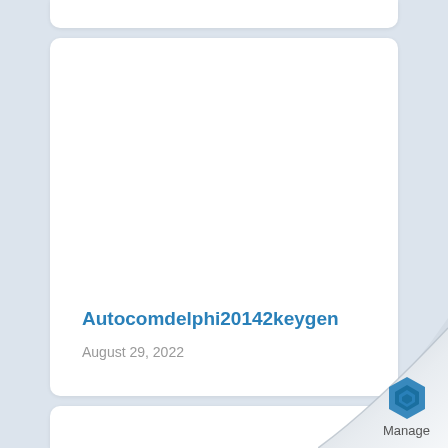Autocomdelphi20142keygen
August 29, 2022
[Figure (logo): Manage service logo with hexagon icon and text 'Manage' on a page curl graphic at bottom right corner]